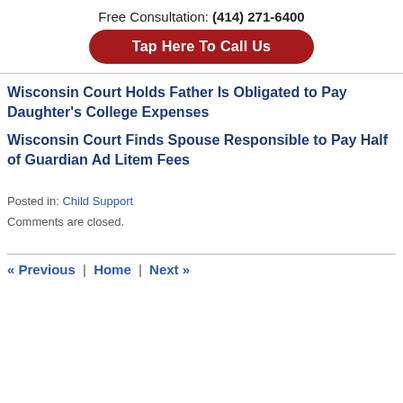Free Consultation: (414) 271-6400
Tap Here To Call Us
Wisconsin Court Holds Father Is Obligated to Pay Daughter’s College Expenses
Wisconsin Court Finds Spouse Responsible to Pay Half of Guardian Ad Litem Fees
Posted in: Child Support
Comments are closed.
« Previous | Home | Next »